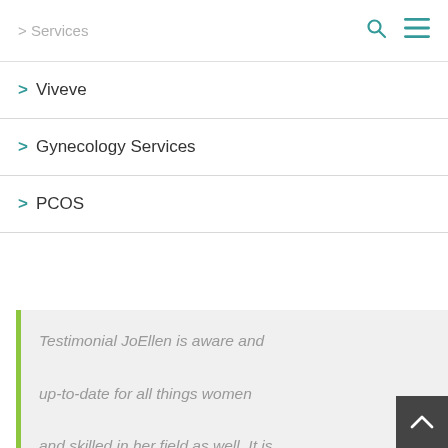> Services
> Viveve
> Gynecology Services
> PCOS
Testimonial JoEllen is aware and up-to-date for all things women and skilled in her field as well. It is